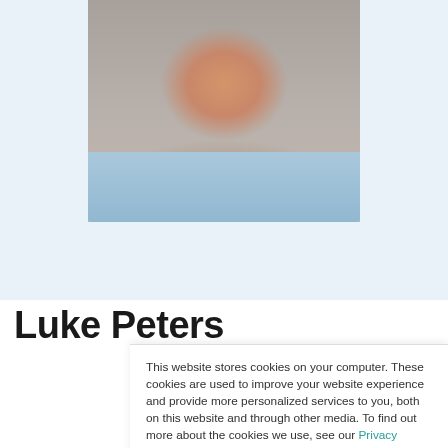[Figure (photo): Cropped professional headshot of a man in a light blue shirt against a grey background, showing neck and lower face/chin area]
Luke Peters
This website stores cookies on your computer. These cookies are used to improve your website experience and provide more personalized services to you, both on this website and through other media. To find out more about the cookies we use, see our Privacy Policy.

We won't track your information when you visit our site. But in order to comply with your preferences, we'll have to use just one tiny cookie so that you're not asked to make this choice again.
Accept | Decline